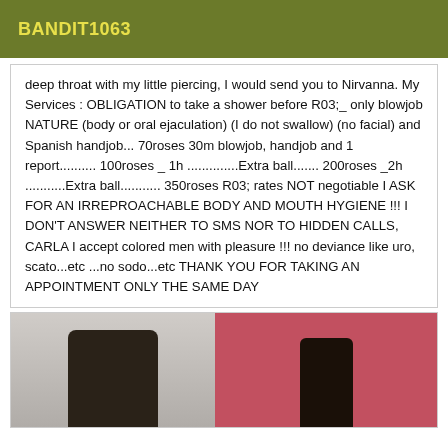BANDIT1063
deep throat with my little piercing, I would send you to Nirvanna. My Services : OBLIGATION to take a shower before R03;_ only blowjob NATURE (body or oral ejaculation) (I do not swallow) (no facial) and Spanish handjob... 70roses 30m blowjob, handjob and 1 report.......... 100roses _ 1h ..............Extra ball....... 200roses _2h ...........Extra ball........... 350roses R03; rates NOT negotiable I ASK FOR AN IRREPROACHABLE BODY AND MOUTH HYGIENE !!! I DON'T ANSWER NEITHER TO SMS NOR TO HIDDEN CALLS, CARLA I accept colored men with pleasure !!! no deviance like uro, scato...etc ...no sodo...etc THANK YOU FOR TAKING AN APPOINTMENT ONLY THE SAME DAY
[Figure (photo): Two photos side by side: left shows a figure in dark outfit against a light wall; right shows a figure against a pink/red background.]